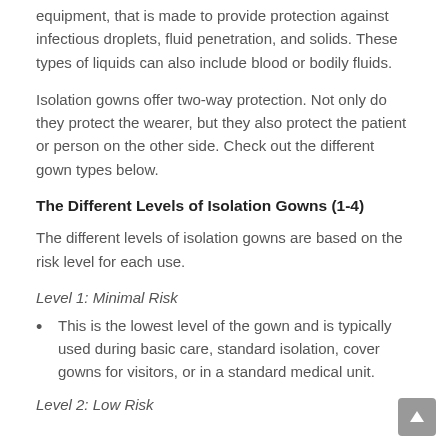equipment, that is made to provide protection against infectious droplets, fluid penetration, and solids. These types of liquids can also include blood or bodily fluids.
Isolation gowns offer two-way protection. Not only do they protect the wearer, but they also protect the patient or person on the other side. Check out the different gown types below.
The Different Levels of Isolation Gowns (1-4)
The different levels of isolation gowns are based on the risk level for each use.
Level 1: Minimal Risk
This is the lowest level of the gown and is typically used during basic care, standard isolation, cover gowns for visitors, or in a standard medical unit.
Level 2: Low Risk